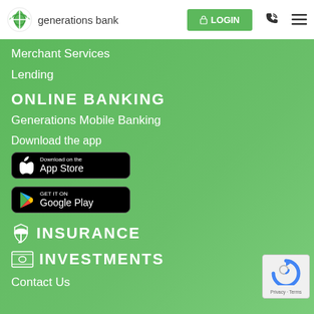generations bank | LOGIN
Merchant Services
Lending
ONLINE BANKING
Generations Mobile Banking
Download the app
[Figure (screenshot): Download on the App Store badge]
[Figure (screenshot): Get it on Google Play badge]
INSURANCE
INVESTMENTS
Contact Us
[Figure (logo): reCAPTCHA badge with Privacy and Terms links]